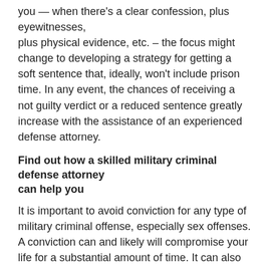you — when there's a clear confession, plus eyewitnesses, plus physical evidence, etc. – the focus might change to developing a strategy for getting a soft sentence that, ideally, won't include prison time. In any event, the chances of receiving a not guilty verdict or a reduced sentence greatly increase with the assistance of an experienced defense attorney.
Find out how a skilled military criminal defense attorney can help you
It is important to avoid conviction for any type of military criminal offense, especially sex offenses. A conviction can and likely will compromise your life for a substantial amount of time. It can also hurt those you love. The military criminal defense lawyers at the law office of Gagne, Scherer & Associates, LLC have extensive firsthand experience with the military legal process and will always strive to protect your rights. Call today at 877-